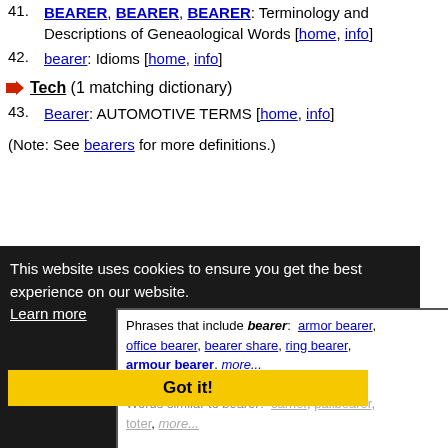41. BEARER, BEARER, BEARER: Terminology and Descriptions of Geneaological Words [home, info]
42. bearer: Idioms [home, info]
Tech (1 matching dictionary)
43. Bearer: AUTOMOTIVE TERMS [home, info]
(Note: See bearers for more definitions.)
This website uses cookies to ensure you get the best experience on our website.
Learn more
Phrases that include bearer: armor bearer, office bearer, bearer share, ring bearer, armour bearer. more...
Got it!
Words similar to bearer: carrier, pallbearer, toter, more...